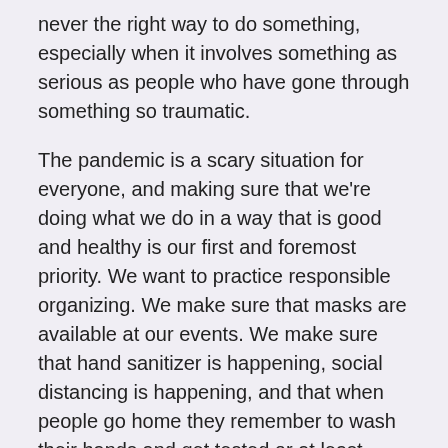never the right way to do something, especially when it involves something as serious as people who have gone through something so traumatic.
The pandemic is a scary situation for everyone, and making sure that we're doing what we do in a way that is good and healthy is our first and foremost priority. We want to practice responsible organizing. We make sure that masks are available at our events. We make sure that hand sanitizer is happening, social distancing is happening, and that when people go home they remember to wash their hands and get tested or at least monitor for symptoms over the next fourteen days and get tested immediately when symptoms arise. That way we can better protect our community from this virus, because as Indigenous communities we have a lot of underlying health conditions that make coronavirus deadly for our people, such as diabetes, heart disease—the list just goes on and on.